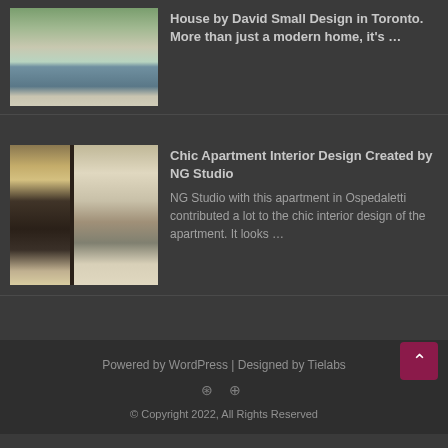[Figure (photo): Exterior of a modern house by David Small Design in Toronto with a long swimming pool in front]
House by David Small Design in Toronto. More than just a modern home, it's …
[Figure (photo): Two interior photos of a chic apartment designed by NG Studio — left shows a bedroom with chandelier, right shows a bathroom/vanity area]
Chic Apartment Interior Design Created by NG Studio
NG Studio with this apartment in Ospedaletti contributed a lot to the chic interior design of the apartment. It looks …
Powered by WordPress | Designed by Tielabs
© Copyright 2022, All Rights Reserved